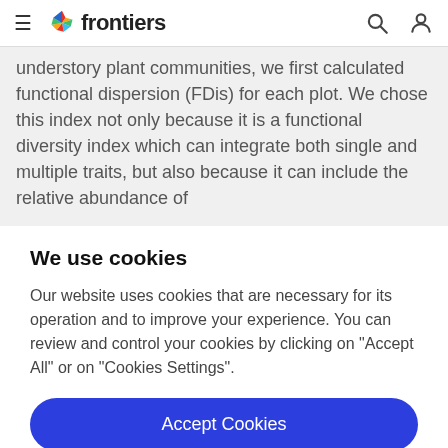frontiers
understory plant communities, we first calculated functional dispersion (FDis) for each plot. We chose this index not only because it is a functional diversity index which can integrate both single and multiple traits, but also because it can include the relative abundance of
We use cookies
Our website uses cookies that are necessary for its operation and to improve your experience. You can review and control your cookies by clicking on "Accept All" or on "Cookies Settings".
Accept Cookies
Cookies Settings